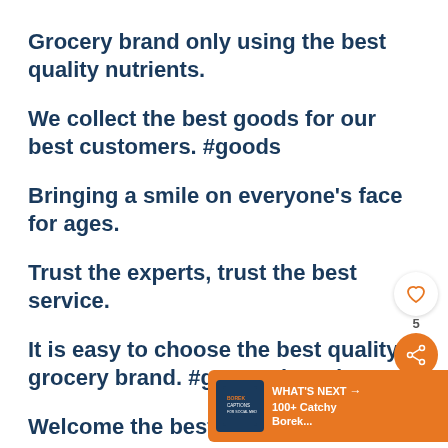Grocery brand only using the best quality nutrients.
We collect the best goods for our best customers. #goods
Bringing a smile on everyone's face for ages.
Trust the experts, trust the best service.
It is easy to choose the best quality grocery brand. #grocerybrand
Welcome the best grocery brand